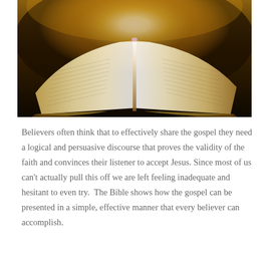[Figure (photo): An open Bible photographed from a low angle with a dramatic golden glowing light emanating from the center spine of the book, pages spread wide, warm amber and gold tones throughout, dark background.]
Believers often think that to effectively share the gospel they need a logical and persuasive discourse that proves the validity of the faith and convinces their listener to accept Jesus. Since most of us can't actually pull this off we are left feeling inadequate and hesitant to even try.  The Bible shows how the gospel can be presented in a simple, effective manner that every believer can accomplish.